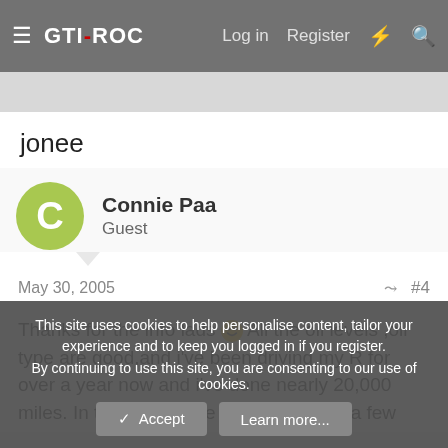GTI-ROC  Log in  Register
jonee
Connie Paa
Guest
May 30, 2005  #4
Thanks for the info lads 🙂 All the oil levels ,oil type are good,and i've been driving my R for over a year now and i've done nearly 20,000 miles. In that time there was more than a few times where i had good blast,as you do 8) ,and i drove my R all the way to Italy, via Amsterdam :lol: and then the fastest drive
This site uses cookies to help personalise content, tailor your experience and to keep you logged in if you register.
By continuing to use this site, you are consenting to our use of cookies.
Accept  Learn more...